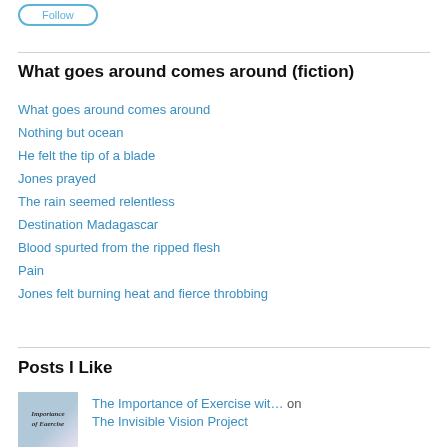[Figure (other): A rounded button/tag element with light blue border]
What goes around comes around (fiction)
What goes around comes around
Nothing but ocean
He felt the tip of a blade
Jones prayed
The rain seemed relentless
Destination Madagascar
Blood spurted from the ripped flesh
Pain
Jones felt burning heat and fierce throbbing
Posts I Like
[Figure (photo): Thumbnail image of a book or article about importance of exercise]
The Importance of Exercise wit… on The Invisible Vision Project